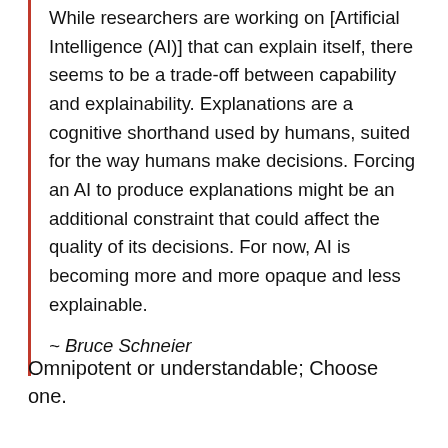While researchers are working on [Artificial Intelligence (AI)] that can explain itself, there seems to be a trade-off between capability and explainability. Explanations are a cognitive shorthand used by humans, suited for the way humans make decisions. Forcing an AI to produce explanations might be an additional constraint that could affect the quality of its decisions. For now, AI is becoming more and more opaque and less explainable.
~ Bruce Schneier
Omnipotent or understandable; Choose one.